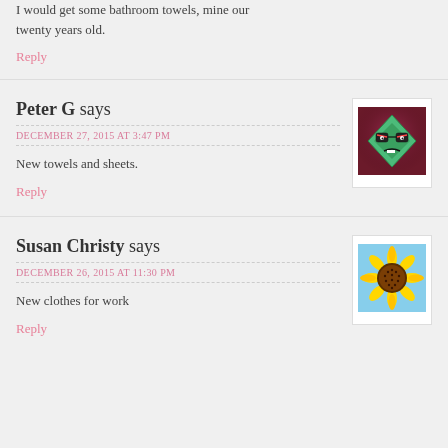I would get some bathroom towels, mine our twenty years old.
Reply
Peter G says
DECEMBER 27, 2015 AT 3:47 PM
[Figure (illustration): Pixel art avatar showing a green diamond-shaped face with glasses and a frown, on a dark red/purple background]
New towels and sheets.
Reply
Susan Christy says
DECEMBER 26, 2015 AT 11:30 PM
[Figure (photo): Close-up photo of a yellow sunflower with brown center]
New clothes for work
Reply